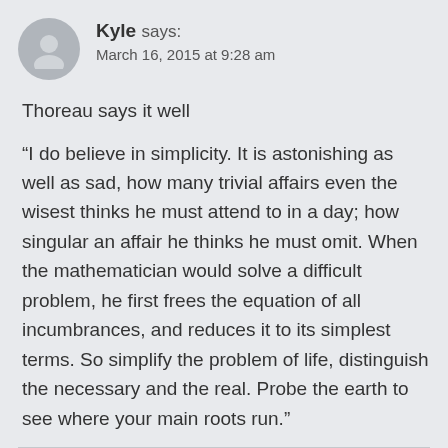[Figure (illustration): Circular avatar icon showing a generic person silhouette on a gray background]
Kyle says:
March 16, 2015 at 9:28 am
Thoreau says it well
“I do believe in simplicity. It is astonishing as well as sad, how many trivial affairs even the wisest thinks he must attend to in a day; how singular an affair he thinks he must omit. When the mathematician would solve a difficult problem, he first frees the equation of all incumbrances, and reduces it to its simplest terms. So simplify the problem of life, distinguish the necessary and the real. Probe the earth to see where your main roots run.”